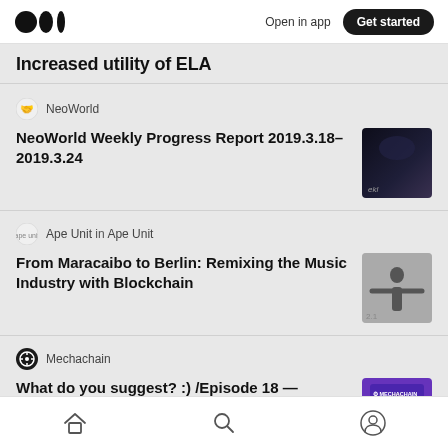Medium app header — Open in app | Get started
Increased utility of ELA
NeoWorld
NeoWorld Weekly Progress Report 2019.3.18–2019.3.24
[Figure (photo): Dark atmospheric thumbnail image for NeoWorld article]
Ape Unit in Ape Unit
From Maracaibo to Berlin: Remixing the Music Industry with Blockchain
[Figure (photo): Black and white photo of person with arms spread for Ape Unit article]
Mechachain
What do you suggest? :) /Episode 18 — August 2022
[Figure (photo): Mechachain branded thumbnail with person and purple background]
Home | Search | Profile navigation icons